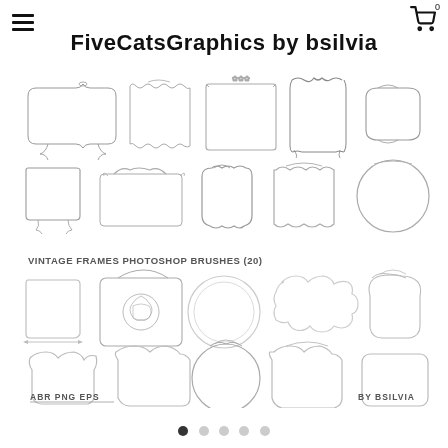FiveCatsGraphics by bsilvia
FiveCatsGraphics by bsilvia
[Figure (illustration): Collection of 20 vintage ornate frames and borders in various shapes including square, rectangular, circular, scalloped, and decorative floral/baroque styles. Shown in light gray/silver line art. Text overlay reads 'VINTAGE FRAMES PHOTOSHOP BRUSHES (20)' and 'ABR PNG EPS' and 'BY BSILVIA']
• • • • •  (pagination dots, first active)